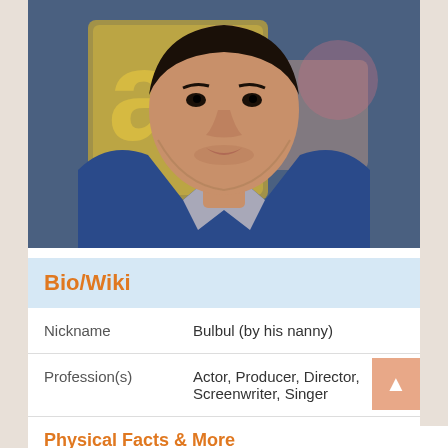[Figure (photo): Portrait photo of a man wearing a blue blazer over a grey t-shirt, with a decorative background featuring yellow/gold lettering]
| Nickname | Bulbul (by his nanny) |
| Profession(s) | Actor, Producer, Director, Screenwriter, Singer |
Physical Facts & More